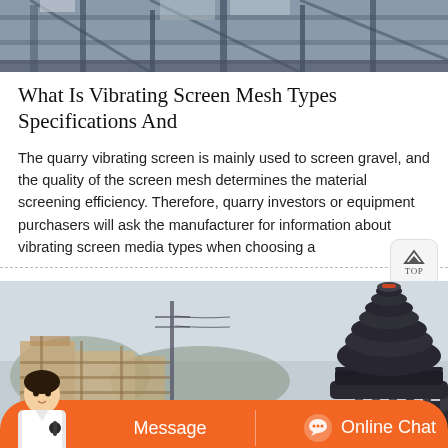[Figure (photo): Industrial facility/quarry equipment photo — steel structural elements and machinery visible from above]
What Is Vibrating Screen Mesh Types Specifications And
The quarry vibrating screen is mainly used to screen gravel, and the quality of the screen mesh determines the material screening efficiency. Therefore, quarry investors or equipment purchasers will ask the manufacturer for information about vibrating screen media types when choosing a
[Figure (photo): Large industrial cone crusher machine at a quarry construction site, with power lines and buildings in the background. An orange chat bar is overlaid at the bottom with a customer service representative, a Message button, and an Online Chat button.]